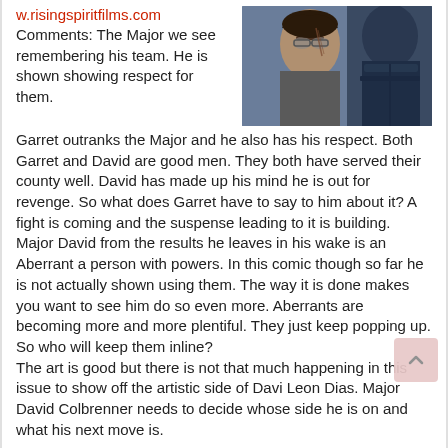w.risingspiritfilms.com
[Figure (illustration): Comic book style illustration of a man with glasses and another armored figure in dark blue/grey tones]
Comments: The Major we see remembering his team. He is shown showing respect for them. Garret outranks the Major and he also has his respect. Both Garret and David are good men. They both have served their county well. David has made up his mind he is out for revenge. So what does Garret have to say to him about it? A fight is coming and the suspense leading to it is building. Major David from the results he leaves in his wake is an Aberrant a person with powers. In this comic though so far he is not actually shown using them. The way it is done makes you want to see him do so even more. Aberrants are becoming more and more plentiful. They just keep popping up. So who will keep them inline? The art is good but there is not that much happening in this issue to show off the artistic side of Davi Leon Dias. Major David Colbrenner needs to decide whose side he is on and what his next move is.